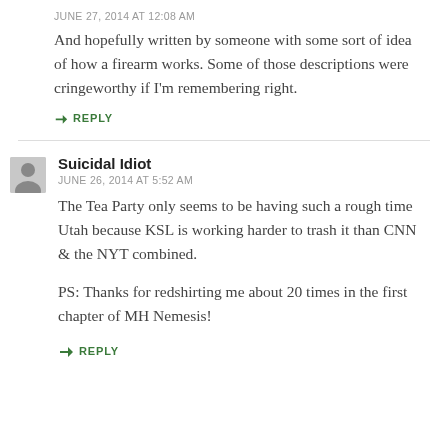JUNE 27, 2014 AT 12:08 AM
And hopefully written by someone with some sort of idea of how a firearm works. Some of those descriptions were cringeworthy if I'm remembering right.
↳ REPLY
Suicidal Idiot
JUNE 26, 2014 AT 5:52 AM
The Tea Party only seems to be having such a rough time Utah because KSL is working harder to trash it than CNN & the NYT combined.
PS: Thanks for redshirting me about 20 times in the first chapter of MH Nemesis!
↳ REPLY